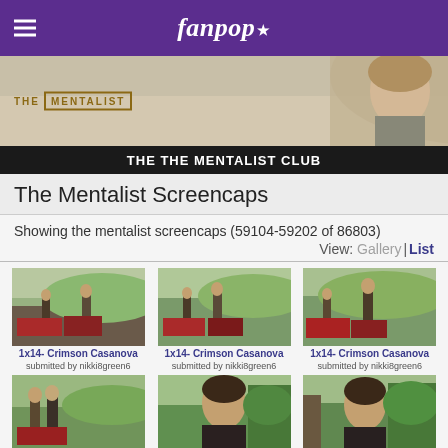fanpop
[Figure (photo): The Mentalist TV show banner with logo and actor photo]
THE THE MENTALIST CLUB
The Mentalist Screencaps
Showing the mentalist screencaps (59104-59202 of 86803)
View: Gallery | List
[Figure (photo): Screencap thumbnail: 1x14- Crimson Casanova - outdoor scene with figures]
1x14- Crimson Casanova
submitted by nikki8green6
[Figure (photo): Screencap thumbnail: 1x14- Crimson Casanova - outdoor scene with figures]
1x14- Crimson Casanova
submitted by nikki8green6
[Figure (photo): Screencap thumbnail: 1x14- Crimson Casanova - outdoor scene with figures]
1x14- Crimson Casanova
submitted by nikki8green6
[Figure (photo): Screencap thumbnail: 1x14- Crimson Casanova - man in dark shirt]
1x14- Crimson Casanova
submitted by nikki8green6
[Figure (photo): Screencap thumbnail: 1x14- Crimson Casanova - man in dark shirt]
1x14- Crimson Casanova
submitted by nikki8green6
[Figure (photo): Screencap thumbnail: 1x14- Crimson Casanova - man in dark shirt]
1x14- Crimson Casanova
submitted by nikki8green6